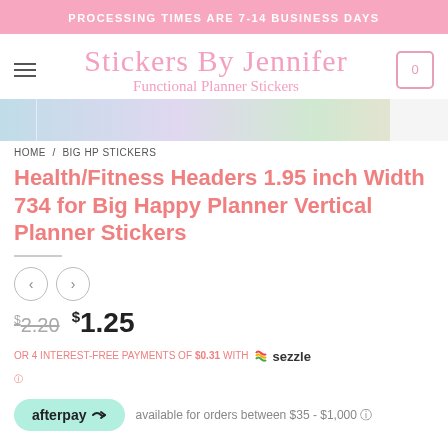PROCESSING TIMES ARE 7-14 BUSINESS DAYS
[Figure (screenshot): Website header with hamburger menu, 'Stickers By Jennifer – Functional Planner Stickers' pink cursive logo, and shopping cart icon showing 0]
[Figure (photo): Partial product image strip showing colorful planner stickers]
HOME / BIG HP STICKERS
Health/Fitness Headers 1.95 inch Width 734 for Big Happy Planner Vertical Planner Stickers
← →  navigation arrows
$2.20  $1.25
OR 4 INTEREST-FREE PAYMENTS OF $0.31 WITH sezzle ?
afterpay  available for orders between $35 - $1,000 ℹ